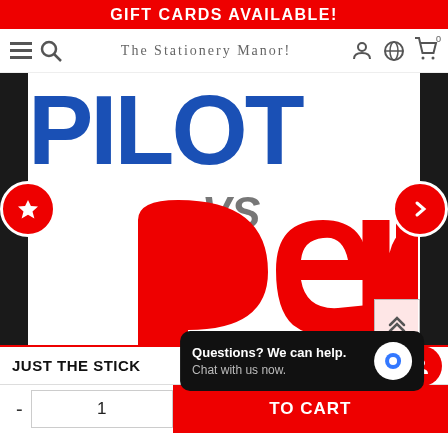GIFT CARDS AVAILABLE!
The Stationery Manor!
[Figure (logo): PILOT vs Pentel brand logos comparison image. PILOT in large blue bold letters, 'vs' in italic gray, and partial Pentel logo in red below.]
JUST THE STICK
Questions? We can help. Chat with us now.
1
TO CART